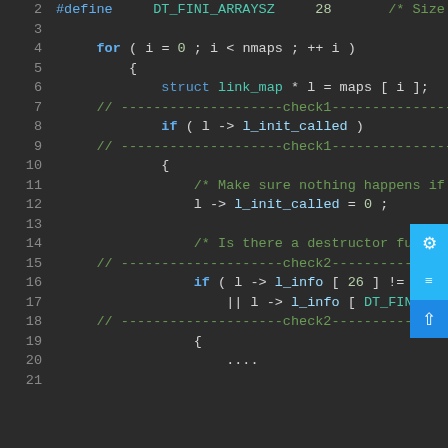Code listing showing C source lines 2–21 with syntax highlighting
[Figure (screenshot): Syntax-highlighted C source code editor view showing lines 2–21 of a C program. The code includes a #define for DT_FINI_ARRAYSZ, a for loop over nmaps, struct link_map pointer, check1 and check2 comment markers, NULL checks and l_init_called assignments. A cyan/blue sidebar with gear, list, and up-arrow icons is visible on the right edge.]